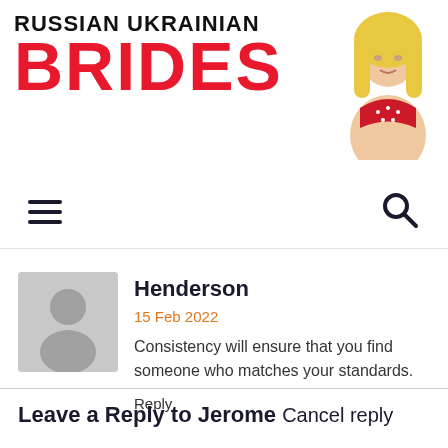RUSSIAN UKRAINIAN BRIDES
[Figure (illustration): Woman in red bikini top, blonde hair, posed against white background — website header image]
[Figure (other): Hamburger menu icon (three horizontal lines) and search icon (magnifying glass) navigation bar]
Henderson
15 Feb 2022
Consistency will ensure that you find someone who matches your standards.
Reply
Leave a Reply to Jerome Cancel reply